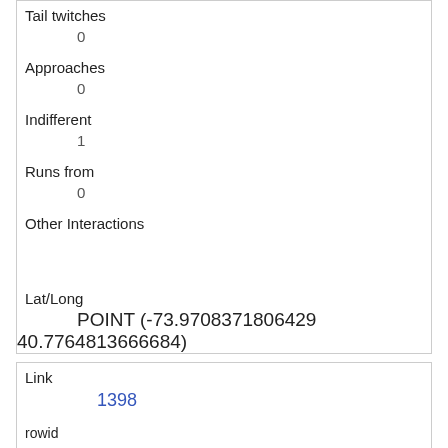| Tail twitches | 0 |
| Approaches | 0 |
| Indifferent | 1 |
| Runs from | 0 |
| Other Interactions |  |
| Lat/Long | POINT (-73.9708371806429 40.7764813666684) |
| Link | 1398 |
| rowid | 1398 |
| longitude | -73.9602808042376 |
| latitude |  |